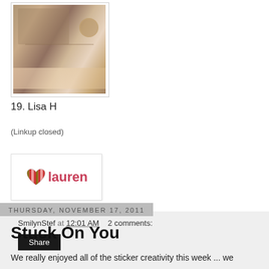[Figure (photo): Thumbnail image showing a crafted scrapbook-style photo with decorative elements, browns and florals]
19. Lisa H
(Linkup closed)
[Figure (illustration): Lauren signature/logo badge with a colorful striped heart icon and stylized text reading 'lauren' in pink/red lettering on white background with border]
SmilynStef at 12:01 AM    2 comments:
Share
Thursday, November 17, 2011
Stuck On You
We really enjoyed all of the sticker creativity this week ... we